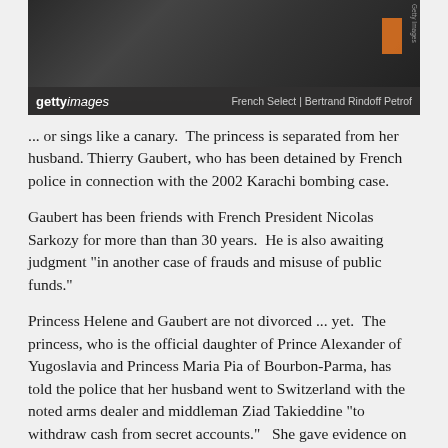[Figure (photo): Partial photo of people, dark background, with Getty Images watermark bar showing 'gettyimages' logo and credit 'French Select | Bertrand Rindoff Petrof']
... or sings like a canary.  The princess is separated from her husband. Thierry Gaubert, who has been detained by French police in connection with the 2002 Karachi bombing case.
Gaubert has been friends with French President Nicolas Sarkozy for more than than 30 years.  He is also awaiting judgment "in another case of frauds and misuse of public funds."
Princess Helene and Gaubert are not divorced ... yet.  The princess, who is the official daughter of Prince Alexander of Yugoslavia and Princess Maria Pia of Bourbon-Parma, has told the police that her husband went to Switzerland with the noted arms dealer and middleman Ziad Takieddine "to withdraw cash from secret accounts."   She gave evidence on September 8 stating that her husband accompanied Takieddine several times to obtain "cases of cash," which were delivered to Nicolas Bazire, head of LVMH.  Bazire was Sarkozy's best man at his 2008 wedding to Carla Bruni.